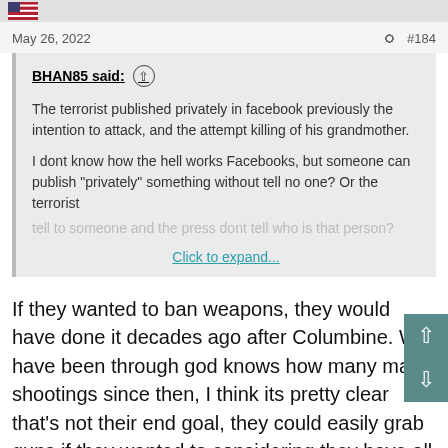May 26, 2022   #184
BHAN85 said: ↑

The terrorist published privately in facebook previously the intention to attack, and the attempt killing of his grandmother.

I dont know how the hell works Facebooks, but someone can publish "privately" something without tell no one? Or the terrorist tell to someone and the press dont tell who is that person?

Click to expand...
If they wanted to ban weapons, they would have done it decades ago after Columbine. We have been through god knows how many mass shootings since then, I think its pretty clear that's not their end goal, they could easily grab guns if they wanted to considering they have all the "justifications" to do such. The gullible American masses think that guns are the problem and not mental health issues and system failures that